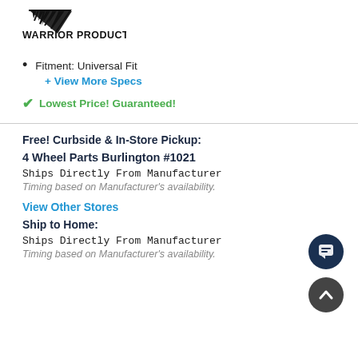[Figure (logo): Warrior Products logo with stylized claw marks above bold text 'WARRIOR PRODUCTS']
Fitment: Universal Fit
+ View More Specs
✔ Lowest Price! Guaranteed!
Free! Curbside & In-Store Pickup:
4 Wheel Parts Burlington #1021
Ships Directly From Manufacturer
Timing based on Manufacturer's availability.
View Other Stores
Ship to Home:
Ships Directly From Manufacturer
Timing based on Manufacturer's availability.